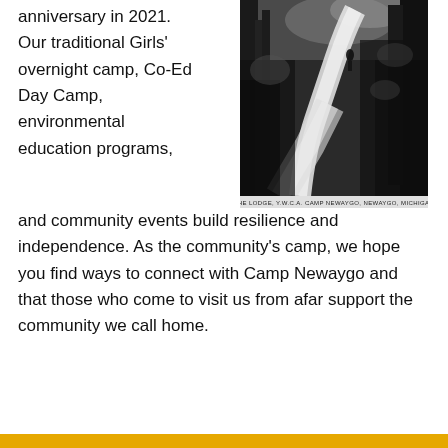anniversary in 2021. Our traditional Girls' overnight camp, Co-Ed Day Camp, environmental education programs, and community events build resilience and independence. As the community's camp, we hope you find ways to connect with Camp Newaygo and that those who come to visit us from afar support the community we call home.
[Figure (photo): Black and white historical photograph of a winding path or road through trees, captioned 'THE LODGE, Y.W.C.A. CAMP NEWAYGO, NEWAYGO, MICHIGAN']